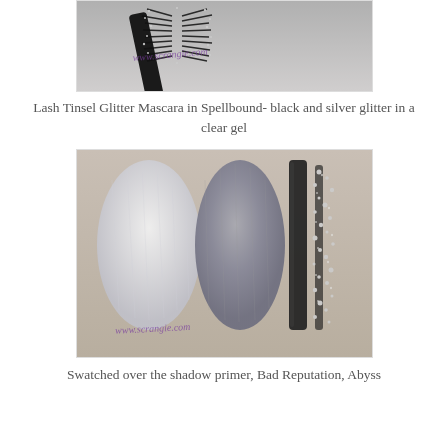[Figure (photo): Close-up photo of a mascara wand with black and silver glitter bristles, showing the texture of Lash Tinsel Glitter Mascara in Spellbound. Watermark reads www.scrangie.com on a grey background.]
Lash Tinsel Glitter Mascara in Spellbound- black and silver glitter in a clear gel
[Figure (photo): Swatches of cosmetic products on skin: a white/silver shimmer eyeshadow swatch on the left, a grey metallic eyeshadow swatch in the middle, a dark black-grey pencil/liner swatch, and a black and silver glitter mascara swatch on the right. Watermark reads www.scrangie.com.]
Swatched over the shadow primer, Bad Reputation, Abyss